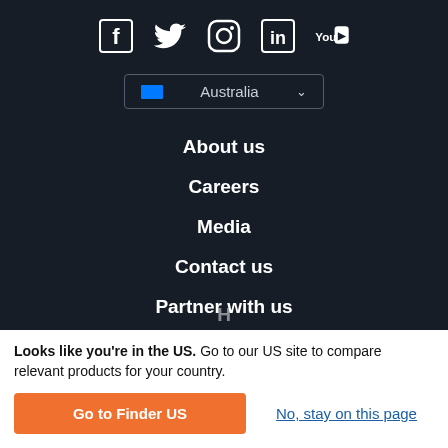[Figure (illustration): Social media icons row: Facebook, Twitter, Instagram, LinkedIn, YouTube on dark background]
[Figure (screenshot): Country selector dropdown showing Australia with flag icon and chevron]
About us
Careers
Media
Contact us
Partner with us
Looks like you're in the US. Go to our US site to compare relevant products for your country.
Go to Finder US
No, stay on this page